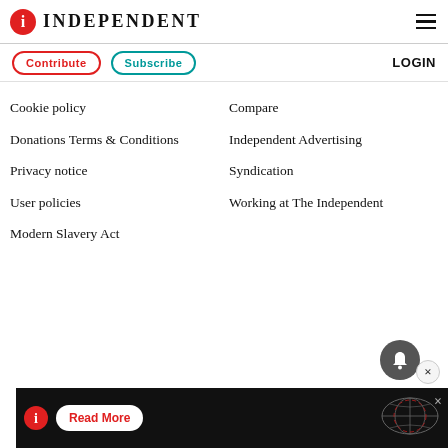INDEPENDENT
Contribute
Subscribe
LOGIN
Cookie policy
Donations Terms & Conditions
Privacy notice
User policies
Modern Slavery Act
Compare
Independent Advertising
Syndication
Working at The Independent
[Figure (other): Bell notification icon button and close X button overlay]
[Figure (other): Advertisement banner for The Independent with Read More button and globe graphic]